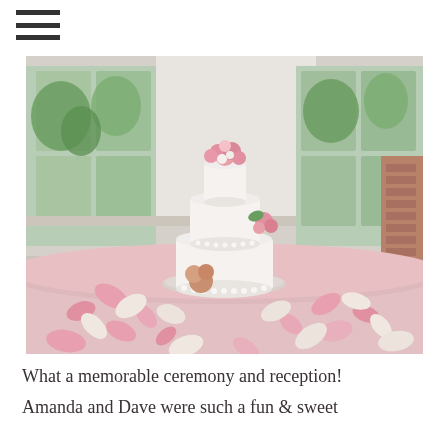≡
[Figure (photo): A three-tiered white wedding cake decorated with pink roses and pearl accents, displayed on a round table covered with a pink tablecloth and surrounded by scattered pink and white rose petals. Large windows with greenery visible in the background.]
What a memorable ceremony and reception!
Amanda and Dave were such a fun & sweet